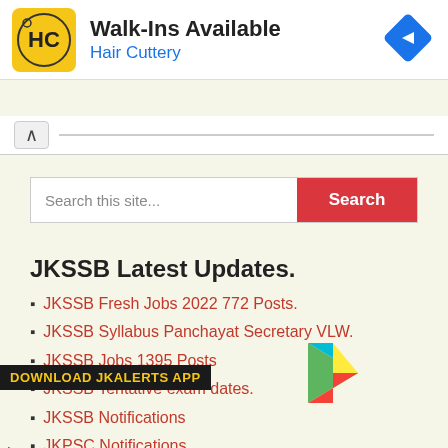[Figure (screenshot): Hair Cuttery ad banner with HC logo, Walk-Ins Available text, and navigation arrow icon]
Search this site...
JKSSB Latest Updates.
JKSSB Fresh Jobs 2022 772 Posts.
JKSSB Syllabus Panchayat Secretary VLW.
JKSSB Jobs 1395 Posts
JKSSB Tentative exam dates.
JKSSB Notifications
JKPSC Notifications.